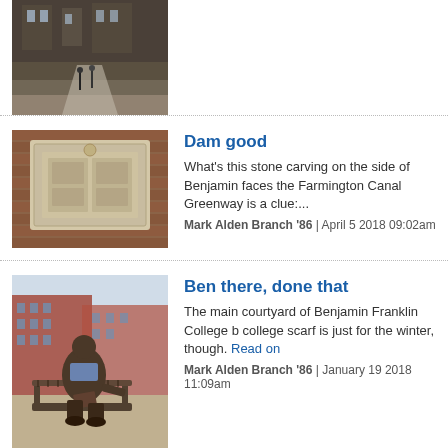[Figure (photo): Partial view of a campus building at dusk with two people walking on a path, brick and gothic architecture visible]
[Figure (photo): Stone carving on the side of a building, showing a relief sculpture of what appears to be a gate or door design, on a brick wall]
Dam good
What's this stone carving on the side of Benjamin faces the Farmington Canal Greenway is a clue:...
Mark Alden Branch '86 | April 5 2018 09:02am
[Figure (photo): Bronze statue of Benjamin Franklin seated on a bench in the main courtyard of Benjamin Franklin College, wearing a blue scarf]
Ben there, done that
The main courtyard of Benjamin Franklin College b college scarf is just for the winter, though. Read on
Mark Alden Branch '86 | January 19 2018 11:09am